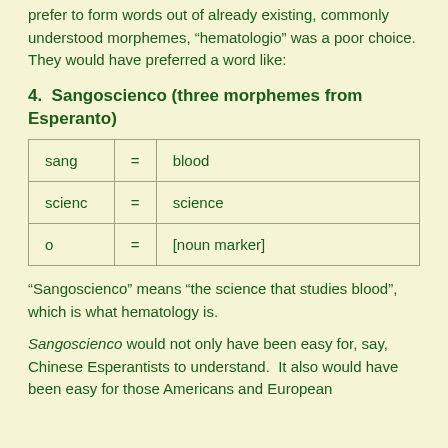prefer to form words out of already existing, commonly understood morphemes, “hematologio” was a poor choice.  They would have preferred a word like:
4.  Sangoscienco (three morphemes from Esperanto)
| sang | = | blood |
| scienc | = | science |
| o | = | [noun marker] |
“Sangoscienco” means “the science that studies blood”, which is what hematology is.
Sangoscienco would not only have been easy for, say, Chinese Esperantists to understand.  It also would have been easy for those Americans and European